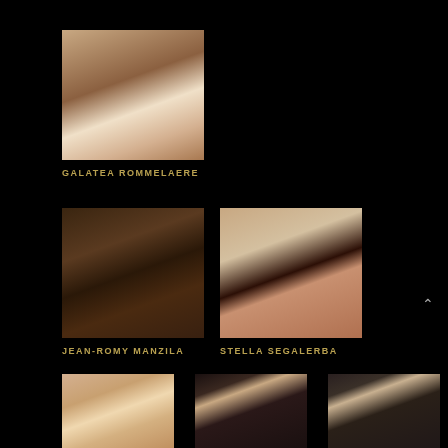[Figure (photo): Headshot photo of Galatea Rommelaere, a young woman with long dark hair, hand near face]
GALATEA ROMMELAERE
[Figure (photo): Headshot photo of Jean-Romy Manzila, a young Black man in dark clothing]
JEAN-ROMY MANZILA
[Figure (photo): Headshot photo of Stella Segalerba, a young woman in red top with curly hair]
STELLA SEGALERBA
[Figure (photo): Headshot photo of an older woman in a sparkly top]
[Figure (photo): Headshot photo of a woman with straight dark hair and bangs]
[Figure (photo): Headshot photo of a young man in a dark turtleneck]